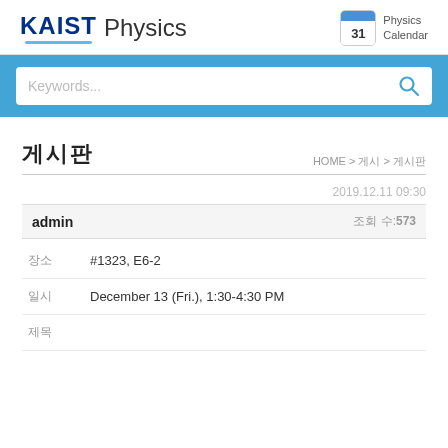KAIST Physics | Physics Calendar
[Figure (logo): KAIST Physics logo with blue underline and Physics Calendar icon]
Keywords...
게시판
HOME > 게시 > 게시판
2019.12.11 09:30
admin 조회 수:573
| 라벨 | 값 |
| --- | --- |
| 장소 | #1323, E6-2 |
| 일시 | December 13 (Fri.), 1:30-4:30 PM |
| 제목 |  |